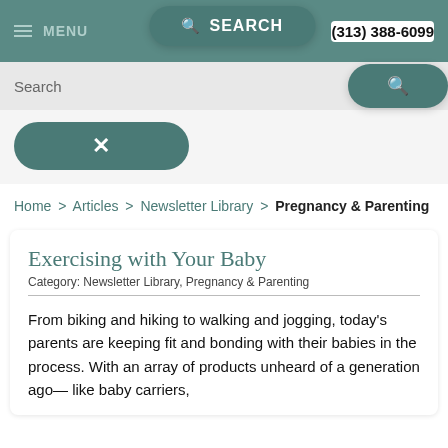MENU | SEARCH | (313) 388-6099
Search
✕
Home > Articles > Newsletter Library > Pregnancy & Parenting
Exercising with Your Baby
Category: Newsletter Library, Pregnancy & Parenting
From biking and hiking to walking and jogging, today's parents are keeping fit and bonding with their babies in the process. With an array of products unheard of a generation ago— like baby carriers,